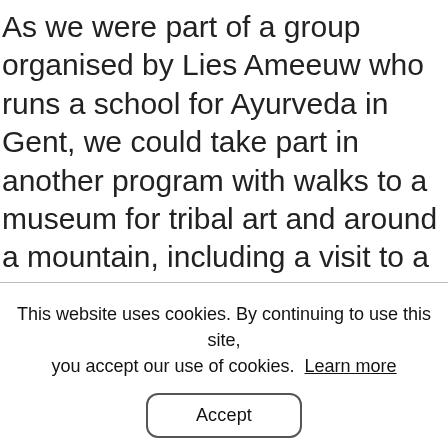As we were part of a group organised by Lies Ameeuw who runs a school for Ayurveda in Gent, we could take part in another program with walks to a museum for tribal art and around a mountain, including a visit to a local market and the tribal shop.
We were offered lectures on Indian culture, stories about Gods, dancing, singing and acting.  Lies Ameeuw
This website uses cookies. By continuing to use this site, you accept our use of cookies.  Learn more
Accept